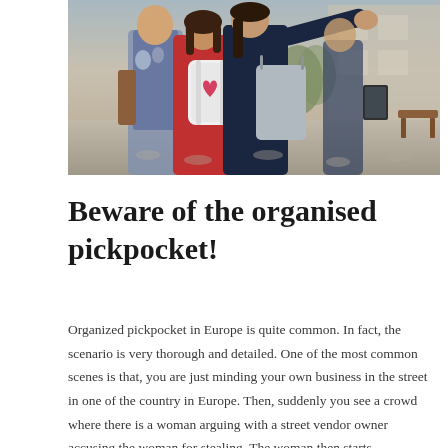[Figure (photo): Photo of a group of women on a cobblestone street, one pointing in the distance, carrying bags including a white backpack with a heart design and a grey tote bag.]
Beware of the organised pickpocket!
Organized pickpocket in Europe is quite common. In fact, the scenario is very thorough and detailed. One of the most common scenes is that, you are just minding your own business in the street in one of the country in Europe. Then, suddenly you see a crowd where there is a woman arguing with a street vendor owner accusing the woman for stealing. The woman then starts undressing herself to prove her point then the vendor